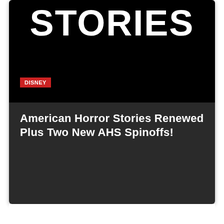[Figure (photo): Black background image showing partial text 'STORIES' in large white bold letters, with a red 'DISNEY' label badge in the lower left]
American Horror Stories Renewed Plus Two New AHS Spinoffs!